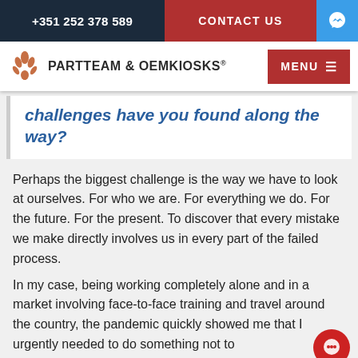+351 252 378 589 | CONTACT US
[Figure (logo): PARTTEAM & OEMKIOSKS logo with ornate icon and MENU button]
challenges have you found along the way?
Perhaps the biggest challenge is the way we have to look at ourselves. For who we are. For everything we do. For the future. For the present. To discover that every mistake we make directly involves us in every part of the failed process.
In my case, being working completely alone and in a market involving face-to-face training and travel around the country, the pandemic quickly showed me that I urgently needed to do something not to